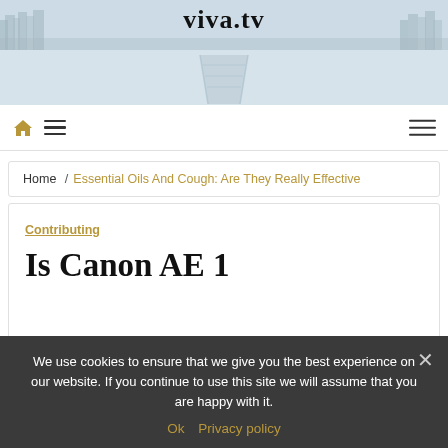viva.tv
[Figure (photo): Winter landscape with snow-covered trees in background, frozen lake or river with a dock/pier extending into the distance, misty grey-blue sky]
Navigation bar with home icon, hamburger menu, and right hamburger menu
Home / Essential Oils And Cough: Are They Really Effective
Contributing
Is Canon AE 1
We use cookies to ensure that we give you the best experience on our website. If you continue to use this site we will assume that you are happy with it.
Ok   Privacy policy